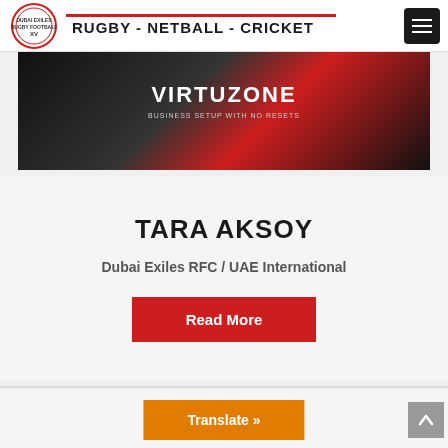RUGBY - NETBALL - CRICKET
[Figure (photo): Person wearing a black and red VIRTUZONE jersey, cropped to show torso]
TARA AKSOY
Dubai Exiles RFC / UAE International
Read More
[Figure (photo): Dark/black background image, second card section partially visible at the bottom]
Translate »